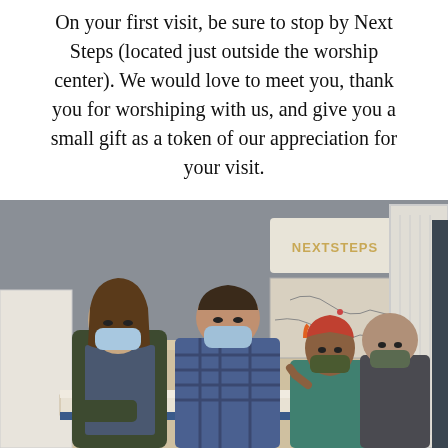On your first visit, be sure to stop by Next Steps (located just outside the worship center). We would love to meet you, thank you for worshiping with us, and give you a small gift as a token of our appreciation for your visit.
[Figure (photo): Four people wearing face masks standing around a reception desk in a room with a 'NEXT STEPS' sign on the wall behind them.]